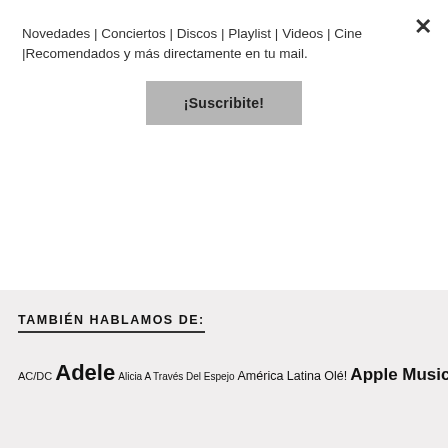Novedades | Conciertos | Discos | Playlist | Videos | Cine |Recomendados y más directamente en tu mail.
¡Suscribite!
TAMBIÉN HABLAMOS DE:
AC/DC Adele Alicia A Través Del Espejo América Latina Olé! Apple Music Arctic Monkeys Argentina BCP Billboard Music Awards blink-182 Bob Dylan California CCPA cine Cirque du Soleil Coachella Coldplay Conciertos David Bowie Deezer Disco Disney Ellie Goulding Festivales Filmagic Garbage George Harrison George Martin Grammy Green Day Guns N' Roses Ice Cube Iggy Pop Iggy Pop Paraguay Indie Jazz John